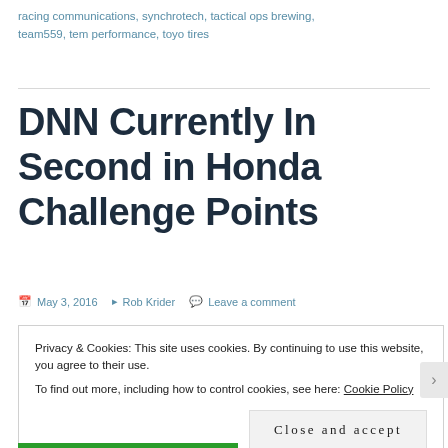racing communications, synchrotech, tactical ops brewing, team559, tem performance, toyo tires
DNN Currently In Second in Honda Challenge Points
May 3, 2016   Rob Krider   Leave a comment
Privacy & Cookies: This site uses cookies. By continuing to use this website, you agree to their use.
To find out more, including how to control cookies, see here: Cookie Policy
Close and accept